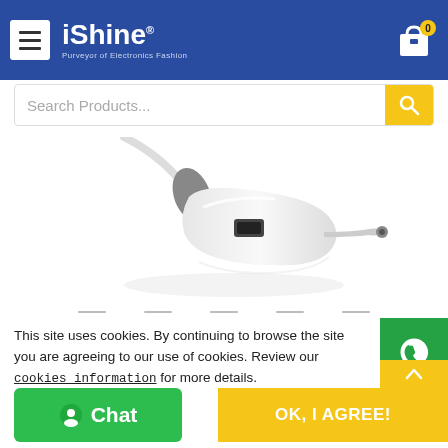iShine® - Purveyor of Electronics Fashion
Search Products...
[Figure (photo): White car charger/cigarette lighter adapter with grey accent and cable, on white background]
This site uses cookies. By continuing to browse the site you are agreeing to our use of cookies. Review our cookies information for more details.
Chat
OK, I AGREE!